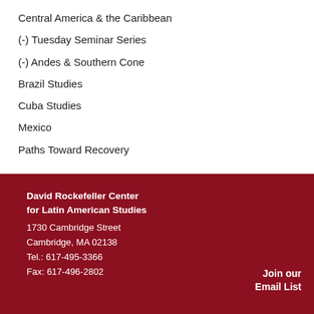Central America & the Caribbean
(-) Tuesday Seminar Series
(-) Andes & Southern Cone
Brazil Studies
Cuba Studies
Mexico
Paths Toward Recovery
David Rockefeller Center for Latin American Studies
1730 Cambridge Street
Cambridge, MA 02138
Tel.: 617-495-3366
Fax: 617-496-2802
Join our Email List